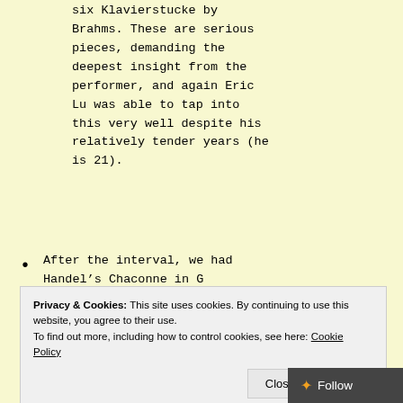six Klavierstucke by Brahms. These are serious pieces, demanding the deepest insight from the performer, and again Eric Lu was able to tap into this very well despite his relatively tender years (he is 21).
After the interval, we had Handel's Chaconne in G major, a series of
Privacy & Cookies: This site uses cookies. By continuing to use this website, you agree to their use. To find out more, including how to control cookies, see here: Cookie Policy
Close and accept
Follow
and mesmerising variati...